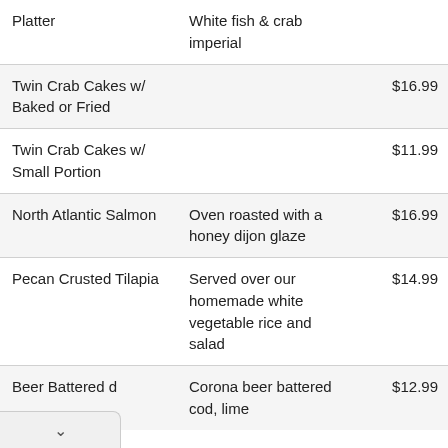| Item | Description | Price |
| --- | --- | --- |
| Platter | White fish & crab imperial |  |
| Twin Crab Cakes w/ Baked or Fried |  | $16.99 |
| Twin Crab Cakes w/ Small Portion |  | $11.99 |
| North Atlantic Salmon | Oven roasted with a honey dijon glaze | $16.99 |
| Pecan Crusted Tilapia | Served over our homemade white vegetable rice and salad | $14.99 |
| Beer Battered d | Corona beer battered cod, lime | $12.99 |